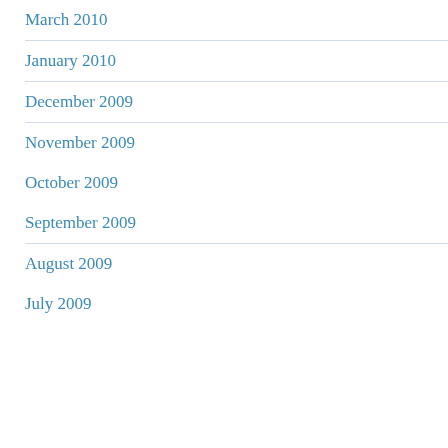March 2010
January 2010
December 2009
November 2009
October 2009
September 2009
August 2009
July 2009